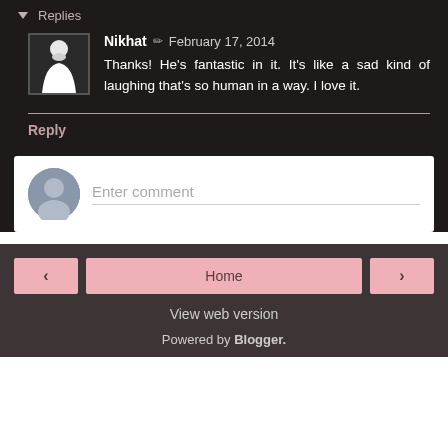▾ Replies
Nikhat ✏ February 17, 2014
Thanks! He's fantastic in it. It's like a sad kind of laughing that's so human in a way. I love it.
Reply
Enter comment
‹
Home
›
View web version
Powered by Blogger.